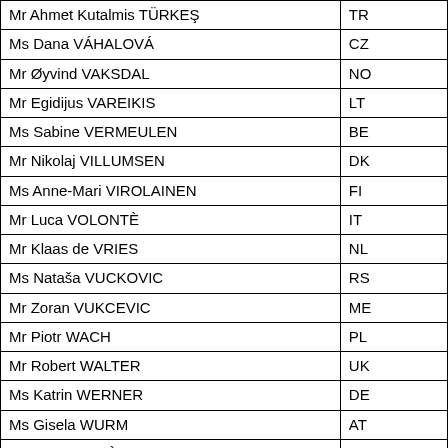| Name | Country Code |
| --- | --- |
| Mr Ahmet Kutalmis TÜRKEŞ | TR |
| Ms Dana VÁHALOVÁ | CZ |
| Mr Øyvind VAKSDAL | NO |
| Mr Egidijus VAREIKIS | LT |
| Ms Sabine VERMEULEN | BE |
| Mr Nikolaj VILLUMSEN | DK |
| Ms Anne-Mari VIROLAINEN | FI |
| Mr Luca VOLONTÈ | IT |
| Mr Klaas de VRIES | NL |
| Ms Nataša VUCKOVIC | RS |
| Mr Zoran VUKCEVIC | ME |
| Mr Piotr WACH | PL |
| Mr Robert WALTER | UK |
| Ms Katrin WERNER | DE |
| Ms Gisela WURM | AT |
| Mr Jordi XUCLÀ | ES |
| Mme Marie-Jo ZIMMERMANN | FR |